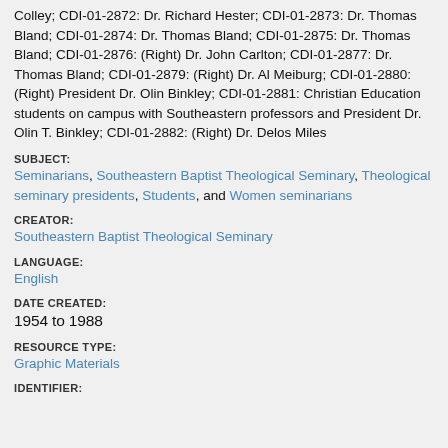Colley; CDI-01-2872: Dr. Richard Hester; CDI-01-2873: Dr. Thomas Bland; CDI-01-2874: Dr. Thomas Bland; CDI-01-2875: Dr. Thomas Bland; CDI-01-2876: (Right) Dr. John Carlton; CDI-01-2877: Dr. Thomas Bland; CDI-01-2879: (Right) Dr. Al Meiburg; CDI-01-2880: (Right) President Dr. Olin Binkley; CDI-01-2881: Christian Education students on campus with Southeastern professors and President Dr. Olin T. Binkley; CDI-01-2882: (Right) Dr. Delos Miles
SUBJECT:
Seminarians, Southeastern Baptist Theological Seminary, Theological seminary presidents, Students, and Women seminarians
CREATOR:
Southeastern Baptist Theological Seminary
LANGUAGE:
English
DATE CREATED:
1954 to 1988
RESOURCE TYPE:
Graphic Materials
IDENTIFIER: